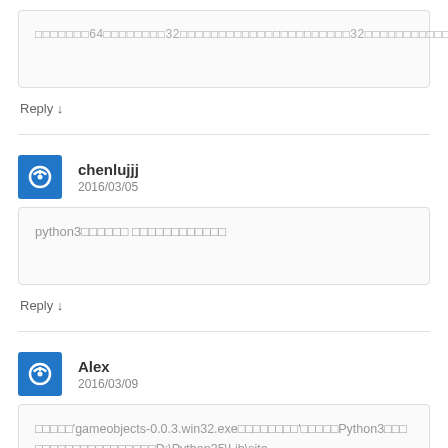□□□□□□□64□□□□□□□□32□□□□□□□□□□□□□□□□□□□□□□32□□□□□□□□□□□□□□□
Reply ↓
chenlujjj
2016/03/05
python3□□□□□□ □□□□□□□□□□□□
Reply ↓
Alex
2016/03/09
□□□□□'gameobjects-0.0.3.win32.exe□□□□□□□□'□□□□□Python3□□□ □□□□□□□□□□□□□□□□D:\Python35\Lib\site-